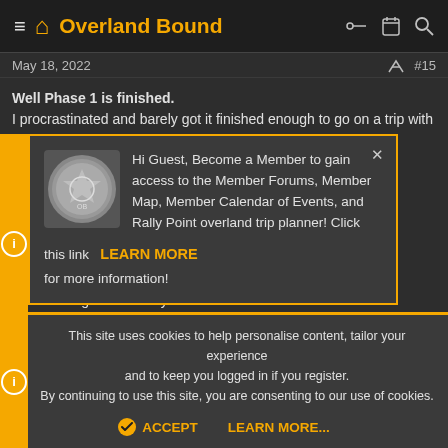Overland Bound
May 18, 2022  #15
Well Phase 1 is finished.
I procrastinated and barely got it finished enough to go on a trip with a friend to Big Bend this last weekend.

I noticed my welds were sloppy.
So...
And when I got my rack metal cut... tick.

My...
Then... bearing replacements be... ings were really bad) and finished rack and painted the metal.
[Figure (screenshot): Popup modal: Hi Guest, Become a Member to gain access to the Member Forums, Member Map, Member Calendar of Events, and Rally Point overland trip planner! Click this link LEARN MORE for more information!]
This site uses cookies to help personalise content, tailor your experience and to keep you logged in if you register.
By continuing to use this site, you are consenting to our use of cookies.
ACCEPT  LEARN MORE...